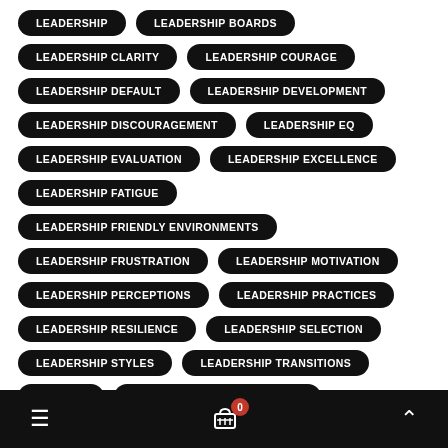LEADERSHIP
LEADERSHIP BOARDS
LEADERSHIP CLARITY
LEADERSHIP COURAGE
LEADERSHIP DEFAULT
LEADERSHIP DEVELOPMENT
LEADERSHIP DISCOURAGEMENT
LEADERSHIP EQ
LEADERSHIP EVALUATION
LEADERSHIP EXCELLENCE
LEADERSHIP FATIGUE
LEADERSHIP FRIENDLY ENVIRONMENTS
LEADERSHIP FRUSTRATION
LEADERSHIP MOTIVATION
LEADERSHIP PERCEPTIONS
LEADERSHIP PRACTICES
LEADERSHIP RESILIENCE
LEADERSHIP SELECTION
LEADERSHIP STYLES
LEADERSHIP TRANSITIONS
LEADING
LEADING FROM THE SANDBOX
LEAN PRACTICES
LEARNING
LEAVING A CHURCH
≡  🛒 0  ∧